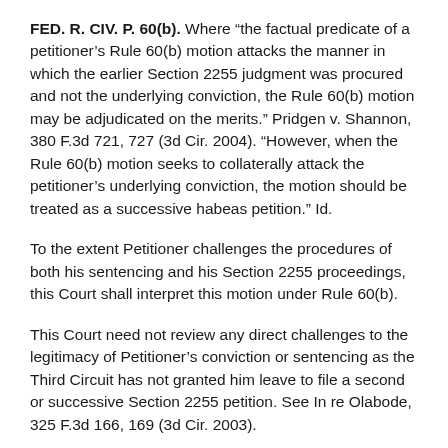FED. R. CIV. P. 60(b). Where “the factual predicate of a petitioner’s Rule 60(b) motion attacks the manner in which the earlier Section 2255 judgment was procured and not the underlying conviction, the Rule 60(b) motion may be adjudicated on the merits.” Pridgen v. Shannon, 380 F.3d 721, 727 (3d Cir. 2004). “However, when the Rule 60(b) motion seeks to collaterally attack the petitioner’s underlying conviction, the motion should be treated as a successive habeas petition.” Id.
To the extent Petitioner challenges the procedures of both his sentencing and his Section 2255 proceedings, this Court shall interpret this motion under Rule 60(b).
This Court need not review any direct challenges to the legitimacy of Petitioner’s conviction or sentencing as the Third Circuit has not granted him leave to file a second or successive Section 2255 petition. See In re Olabode, 325 F.3d 166, 169 (3d Cir. 2003).